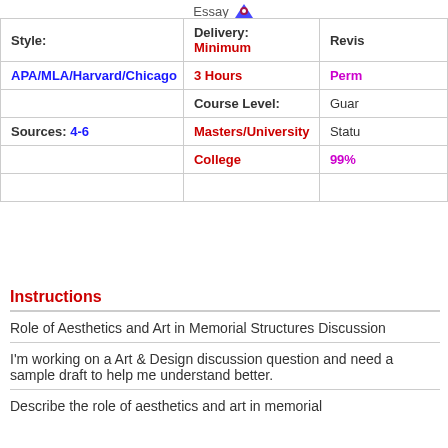Essay
| Style: | Delivery: Minimum | Revis |
| --- | --- | --- |
| APA/MLA/Harvard/Chicago | 3 Hours | Perm |
|  | Course Level: | Guar |
| Sources: 4-6 | Masters/University | Statu |
|  | College | 99% |
|  |  |  |
Instructions
Role of Aesthetics and Art in Memorial Structures Discussion
I'm working on a Art & Design discussion question and need a sample draft to help me understand better.
Describe the role of aesthetics and art in memorial